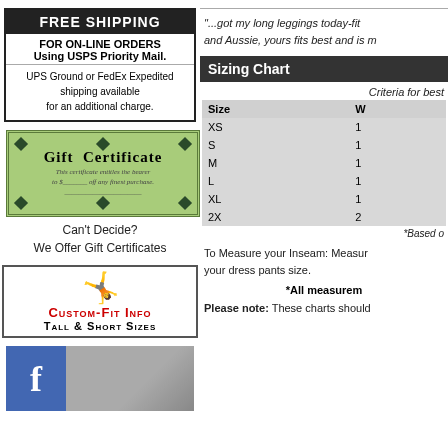FREE SHIPPING
FOR ON-LINE ORDERS
Using USPS Priority Mail.
UPS Ground or FedEx Expedited shipping available for an additional charge.
[Figure (illustration): Green gift certificate image with decorative border and diamond corner ornaments]
Can't Decide?
We Offer Gift Certificates
[Figure (illustration): Custom-Fit Info illustration with man in suspenders holding dumbbells, text: CUSTOM-FIT INFO TALL & SHORT SIZES]
[Figure (illustration): Facebook logo icon with blue background 'f' and photo of person]
"...got my long leggings today-fit and Aussie, yours fits best and is m
Sizing Chart
Criteria for best
| Size | W |
| --- | --- |
| XS | 1 |
| S | 1 |
| M | 1 |
| L | 1 |
| XL | 1 |
| 2X | 2 |
*Based o
To Measure your Inseam: Measur your dress pants size.
*All measurem
Please note: These charts should